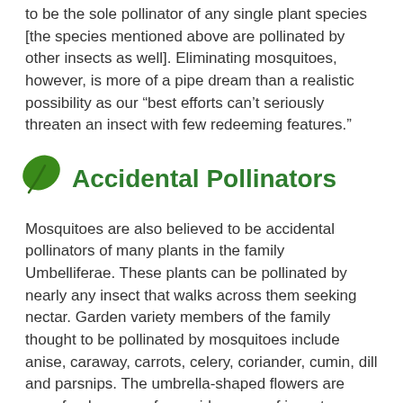to be the sole pollinator of any single plant species [the species mentioned above are pollinated by other insects as well]. Eliminating mosquitoes, however, is more of a pipe dream than a realistic possibility as our “best efforts can’t seriously threaten an insect with few redeeming features.”
Accidental Pollinators
Mosquitoes are also believed to be accidental pollinators of many plants in the family Umbelliferae. These plants can be pollinated by nearly any insect that walks across them seeking nectar. Garden variety members of the family thought to be pollinated by mosquitoes include anise, caraway, carrots, celery, coriander, cumin, dill and parsnips. The umbrella-shaped flowers are easy food sources for a wide range of insects.